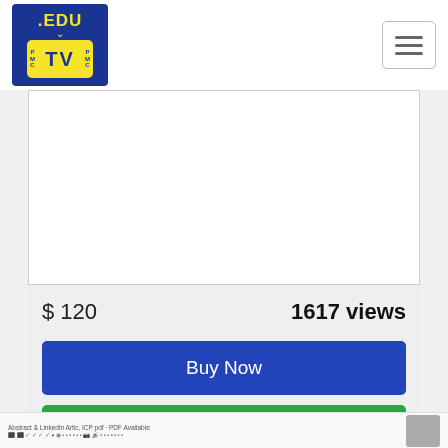[Figure (logo): .EDU TV logo with dark blue background, yellow TV icon with PMC text on both sides]
[Figure (screenshot): Hamburger menu icon (three horizontal lines) in a rounded rectangle button]
[Figure (screenshot): Video player area - white rectangle (video content area)]
$ 120
1617 views
Buy Now
Add to shortlist
[Figure (screenshot): Bottom strip with small text and a thumbnail avatar image]